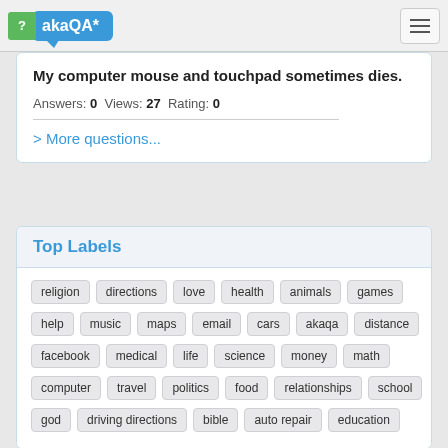akaQA*
My computer mouse and touchpad sometimes dies.
Answers: 0  Views: 27  Rating: 0
> More questions...
Top Labels
religion, directions, love, health, animals, games
help, music, maps, email, cars, akaqa, distance
facebook, medical, life, science, money, math
computer, travel, politics, food, relationships, school
god, driving directions, bible, auto repair, education